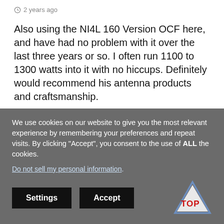2 years ago
Also using the NI4L 160 Version OCF here, and have had no problem with it over the last three years or so. I often run 1100 to 1300 watts into it with no hiccups. Definitely would recommend his antenna products and craftsmanship.
★  Loading...
+ 0 — Reply
We use cookies on our website to give you the most relevant experience by remembering your preferences and repeat visits. By clicking "Accept", you consent to the use of ALL the cookies.
Do not sell my personal information.
Settings  Accept